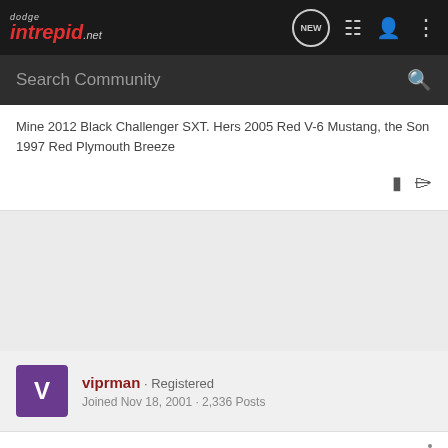dodge intrepid .net
Search Community
Mine 2012 Black Challenger SXT. Hers 2005 Red V-6 Mustang, the Son 1997 Red Plymouth Breeze
viprman · Registered
Joined Nov 18, 2001 · 2,336 Posts
#5 · Dec 2, 2001
Originally posted by SPOOK R/T: